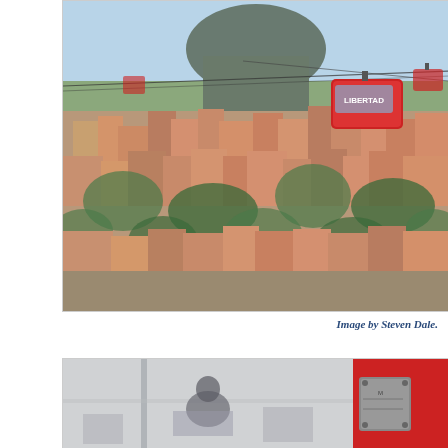[Figure (photo): Aerial cable car gondola labeled 'LIBERTAD' suspended over a densely built hillside neighborhood (favela), with a large modern building visible at the top of the hill. Blue sky in background.]
Image by Steven Dale.
[Figure (photo): Interior or close-up view of a cable car gondola, showing a passenger seated inside through glass, with red mechanical housing visible on the right side.]